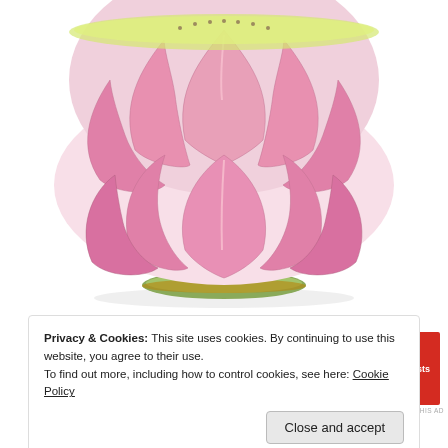[Figure (photo): A Chinese Famille-Rose lotus bowl photographed from above/side angle, showing pink lotus petals as the bowl exterior, with green base, on white background.]
Advertisements
[Figure (screenshot): Pocket Casts advertisement banner: red background with white text 'An app by listeners, for listeners.' and a phone image showing 'Distributed' podcast, with Pocket Casts logo on the right.]
REPORT THIS AD
A Famille-Rose “Lotus” Bowl and Cover Daoguang Seal
Privacy & Cookies: This site uses cookies. By continuing to use this website, you agree to their use.
To find out more, including how to control cookies, see here: Cookie Policy
Close and accept
favorite piece from this auction was a challenge.